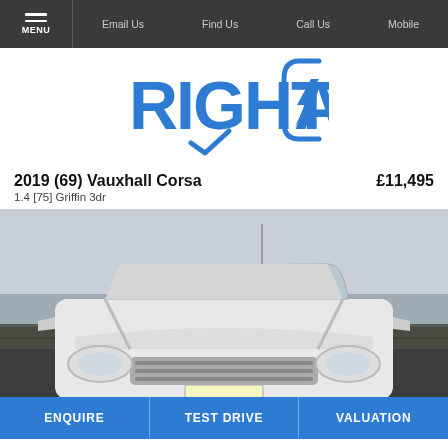MENU | Email Us | Find Us | Call Us | Mobile
[Figure (logo): RightCars logo in blue with a checkmark/lightning bolt integrated into the letter C]
2019 (69) Vauxhall Corsa   £11,495
1.4 [75] Griffin 3dr
[Figure (photo): Front view of a white Vauxhall Corsa hatchback parked near a coastal wall with sea and sky in background]
ENQUIRE | TEST DRIVE | VALUATION